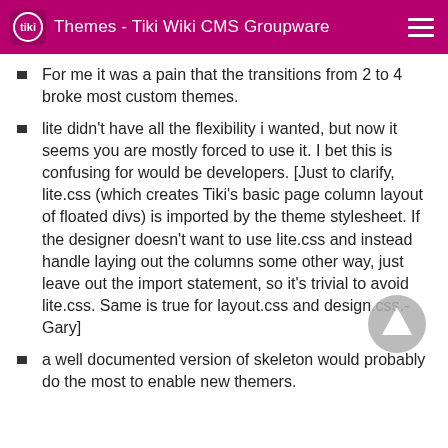Themes - Tiki Wiki CMS Groupware
For me it was a pain that the transitions from 2 to 4 broke most custom themes.
lite didn't have all the flexibility i wanted, but now it seems you are mostly forced to use it. I bet this is confusing for would be developers. [Just to clarify, lite.css (which creates Tiki's basic page column layout of floated divs) is imported by the theme stylesheet. If the designer doesn't want to use lite.css and instead handle laying out the columns some other way, just leave out the import statement, so it's trivial to avoid lite.css. Same is true for layout.css and design.css.-Gary]
a well documented version of skeleton would probably do the most to enable new themers.